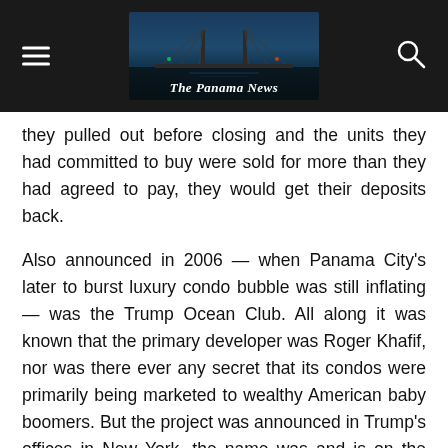The Panama News
they pulled out before closing and the units they had committed to buy were sold for more than they had agreed to pay, they would get their deposits back.
Also announced in 2006 — when Panama City's later to burst luxury condo bubble was still inflating — was the Trump Ocean Club. All along it was known that the primary developer was Roger Khafif, nor was there ever any secret that its condos were primarily being marketed to wealthy American baby boomers. But the project was announced in Trump's offices in New York, the name was and is on the project and there were no disclaimers about the Trump name contained in the promotional materials. Indeed, Donald Trump and his three children who work for the family business made repeated promotional appearances for the